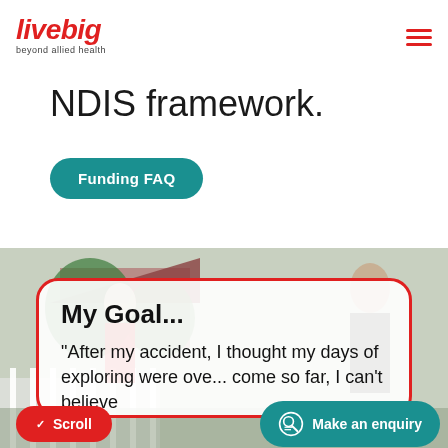livebig — beyond allied health
NDIS framework.
Funding FAQ
[Figure (photo): Outdoor photo showing two people, one in red and one in black shirt, standing outside a house with a white fence and trees in the background. A white card with red border overlays the photo showing text 'My Goal... "After my accident, I thought my days of exploring were over... come so far, I can't believe"']
Scroll
Make an enquiry